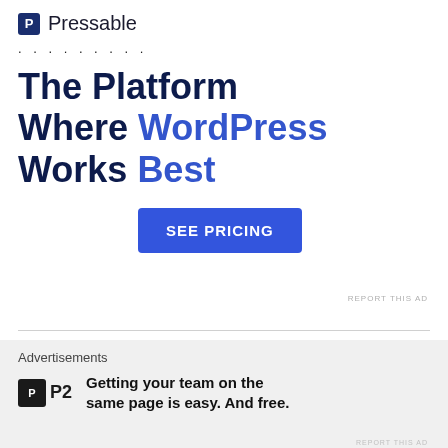[Figure (screenshot): Pressable advertisement banner with logo, headline 'The Platform Where WordPress Works Best', and SEE PRICING button]
ecohorizons
18th Jul 2020 at 11:11 am
[Figure (photo): Small thumbnail image, dark nature/waterfall scene]
Advertisements
[Figure (screenshot): P2 advertisement: Getting your team on the same page is easy. And free.]